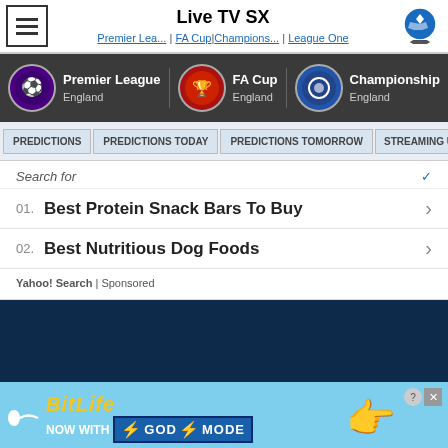Live TV SX
Premier Lea... | FA Cup | Champions... | League One
[Figure (screenshot): Navigation bar with Premier League, FA Cup, Championship league icons]
PREDICTIONS | PREDICTIONS TODAY | PREDICTIONS TOMORROW | STREAMING UK
Search for
01. Best Protein Snack Bars To Buy
02. Best Nutritious Dog Foods
Yahoo! Search | Sponsored
[Figure (photo): Dark blue advertisement space]
[Figure (infographic): BitLife ad: NOW WITH GOD MODE]
[Figure (screenshot): Bottom team bar with football club badges and times: 21:00]